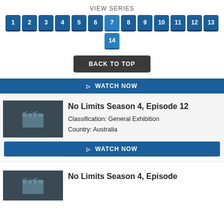VIEW SERIES
1 2 3 4 5 6 7 8 9 10 11 12 13 14 - page navigation buttons
BACK TO TOP
▷ WATCH NOW
[Figure (screenshot): Thumbnail placeholder with film clapper icon for No Limits Season 4, Episode 12]
No Limits Season 4, Episode 12
Classification: General Exhibition
Country: Australia
▷ WATCH NOW
[Figure (screenshot): Thumbnail placeholder for No Limits Season 4 next episode]
No Limits Season 4, Episode